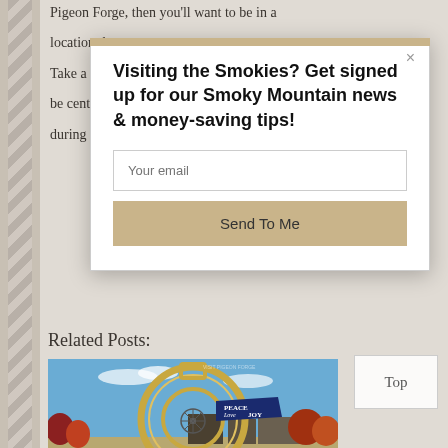Pigeon Forge, then you'll want to be in a location th...
Take a loo...
be center...
during the...
Visiting the Smokies? Get signed up for our Smoky Mountain news & money-saving tips!
Your email
Send To Me
Related Posts:
[Figure (photo): Large circular Christmas ornament decoration with a ferris wheel and buildings visible in the background, blue sky, autumn trees. A banner reads 'PEACE Love JOY'.]